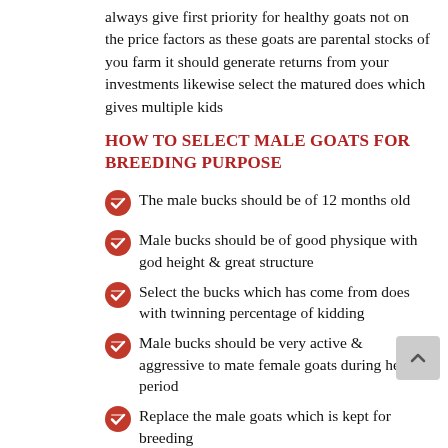always give first priority for healthy goats not on the price factors as these goats are parental stocks of you farm it should generate returns from your investments likewise select the matured does which gives multiple kids
How to select male goats for breeding purpose
The male bucks should be of 12 months old
Male bucks should be of good physique with god height & great structure
Select the bucks which has come from does with twinning percentage of kidding
Male bucks should be very active & aggressive to mate female goats during heat period
Replace the male goats which is kept for breeding